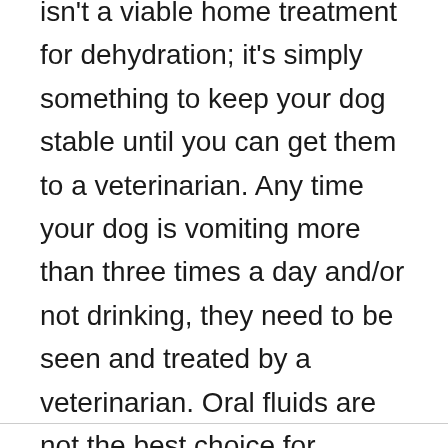isn't a viable home treatment for dehydration; it's simply something to keep your dog stable until you can get them to a veterinarian. Any time your dog is vomiting more than three times a day and/or not drinking, they need to be seen and treated by a veterinarian. Oral fluids are not the best choice for dehydration; your dog will fare much better with IV or subcutaneous (under the skin) fluids.